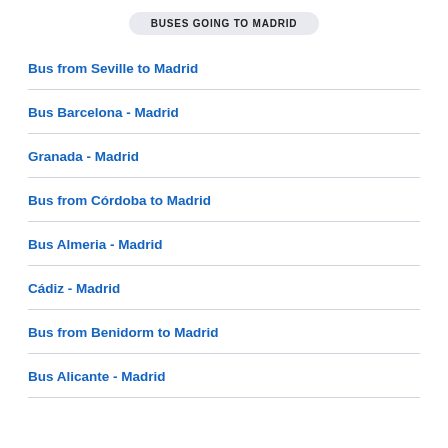BUSES GOING TO MADRID
Bus from Seville to Madrid
Bus Barcelona - Madrid
Granada - Madrid
Bus from Córdoba to Madrid
Bus Almeria - Madrid
Cádiz - Madrid
Bus from Benidorm to Madrid
Bus Alicante - Madrid